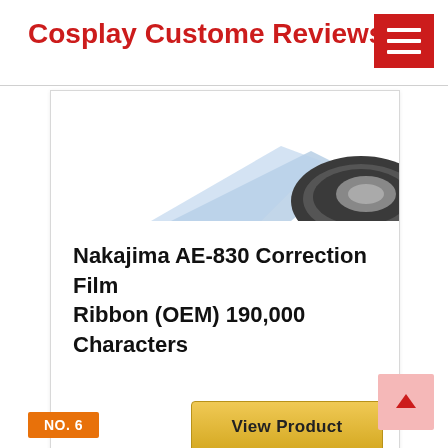Cosplay Custome Reviews
[Figure (screenshot): Partial product image showing a correction film ribbon product, cropped at the top of the card]
Nakajima AE-830 Correction Film Ribbon (OEM) 190,000 Characters
View Product
NO. 6